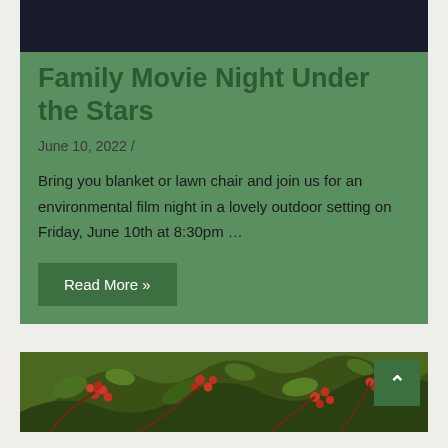[Figure (photo): Dark navy/black header image at top of card]
Family Movie Night Under the Stars
June 10, 2022 / Past Events
Bring you blanket or lawn chair and join us for an environmental film night in a lovely outdoor setting on Friday, June 10th at 8:30pm …
Read More »
[Figure (photo): Photo of tree branches with red berries and green leaves, second card preview]